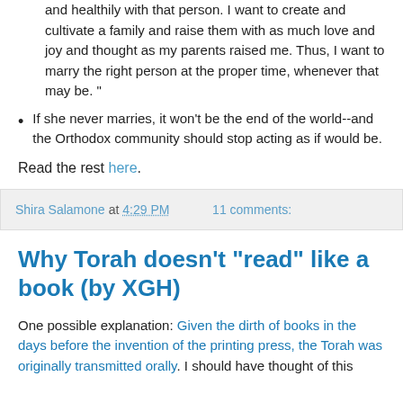and healthily with that person. I want to create and cultivate a family and raise them with as much love and joy and thought as my parents raised me. Thus, I want to marry the right person at the proper time, whenever that may be. "
If she never marries, it won't be the end of the world--and the Orthodox community should stop acting as if would be.
Read the rest here.
Shira Salamone at 4:29 PM   11 comments:
Why Torah doesn't "read" like a book (by XGH)
One possible explanation: Given the dirth of books in the days before the invention of the printing press, the Torah was originally transmitted orally. I should have thought of this